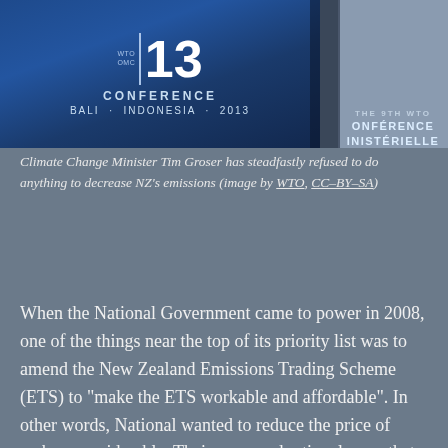[Figure (photo): WTO Ministerial Conference 13, Bali, Indonesia, 2013 banner with WTO/OMC logo and a person partially visible on the right]
Climate Change Minister Tim Groser has steadfastly refused to do anything to decrease NZ's emissions (image by WTO, CC-BY-SA)
When the National Government came to power in 2008, one of the things near the top of its priority list was to amend the New Zealand Emissions Trading Scheme (ETS) to “make the ETS workable and affordable”. In other words, National wanted to reduce the price of carbon considerably. Their supposed rationale was that the economy was in a downturn, and it wasn’t fair to introduce an extra tax on households